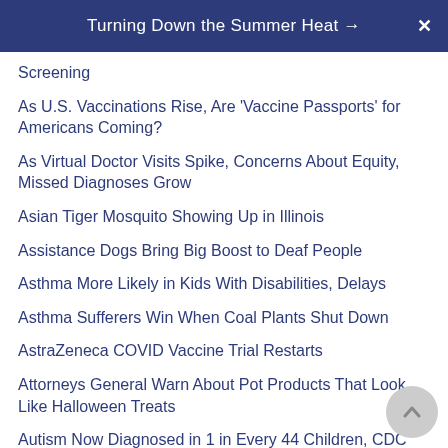Turning Down the Summer Heat →
Screening
As U.S. Vaccinations Rise, Are 'Vaccine Passports' for Americans Coming?
As Virtual Doctor Visits Spike, Concerns About Equity, Missed Diagnoses Grow
Asian Tiger Mosquito Showing Up in Illinois
Assistance Dogs Bring Big Boost to Deaf People
Asthma More Likely in Kids With Disabilities, Delays
Asthma Sufferers Win When Coal Plants Shut Down
AstraZeneca COVID Vaccine Trial Restarts
Attorneys General Warn About Pot Products That Look Like Halloween Treats
Autism Now Diagnosed in 1 in Every 44 Children, CDC Says